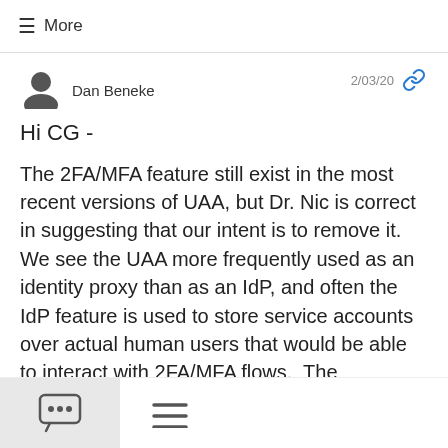≡ More
Dan Beneke  2/03/20
Hi CG -
The 2FA/MFA feature still exist in the most recent versions of UAA, but Dr. Nic is correct in suggesting that our intent is to remove it.  We see the UAA more frequently used as an identity proxy than as an IdP, and often the IdP feature is used to store service accounts over actual human users that would be able to interact with 2FA/MFA flows.  The predominance of this usage pattern has led us to consider viewing UAA on a path to become a